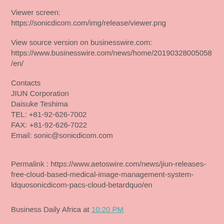Viewer screen:
https://sonicdicom.com/img/release/viewer.png
View source version on businesswire.com:
https://www.businesswire.com/news/home/20190328005058/en/
Contacts
JIUN Corporation
Daisuke Teshima
TEL: +81-92-626-7002
FAX: +81-92-626-7022
Email: sonic@sonicdicom.com
Permalink : https://www.aetoswire.com/news/jiun-releases-free-cloud-based-medical-image-management-system-ldquosonicdicom-pacs-cloud-betardquo/en
Business Daily Africa at 10:20 PM